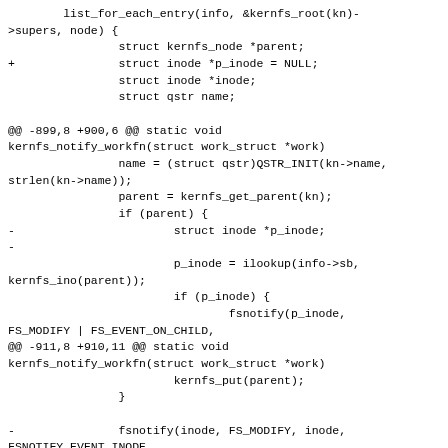Code diff showing kernfs notify workfn modifications including struct inode *p_inode addition and fsnotify calls refactoring